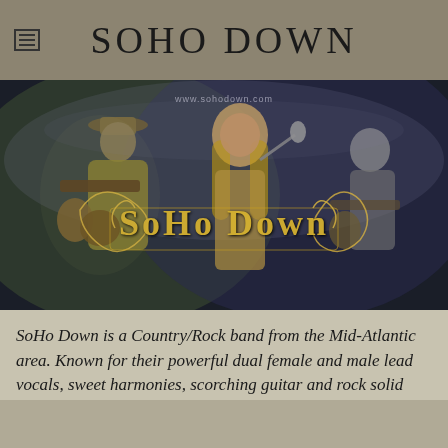SOHO DOWN
[Figure (photo): Band photo of SoHo Down performing on stage. A female vocalist with long hair sings into a microphone center stage, a male guitarist in a cowboy hat plays guitar on the left, and another musician plays guitar on the right. The ornate SoHo Down logo is overlaid on the image. A banner reading www.sohodown.com is visible in the background.]
SoHo Down is a Country/Rock band from the Mid-Atlantic area. Known for their powerful dual female and male lead vocals, sweet harmonies, scorching guitar and rock solid